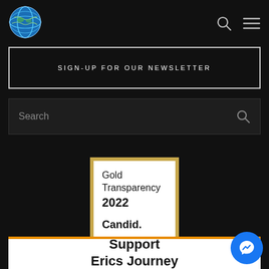[Figure (logo): Globe emoji logo in navbar top left]
SIGN-UP FOR OUR NEWSLETTER
Search
[Figure (other): Gold Transparency 2022 Candid. badge - white square with gold border containing text: Gold Transparency 2022, Candid.]
Support Erics Journey